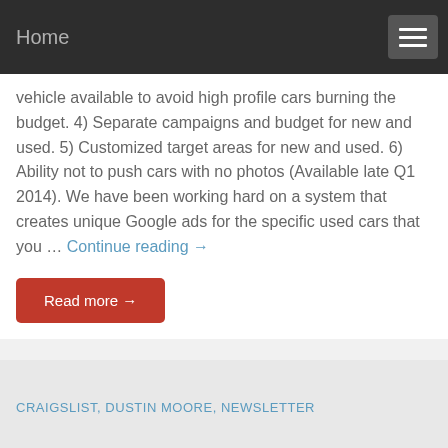Home
vehicle available to avoid high profile cars burning the budget. 4) Separate campaigns and budget for new and used. 5) Customized target areas for new and used. 6) Ability not to push cars with no photos (Available late Q1 2014). We have been working hard on a system that creates unique Google ads for the specific used cars that you … Continue reading →
Read more →
CRAIGSLIST, DUSTIN MOORE, NEWSLETTER